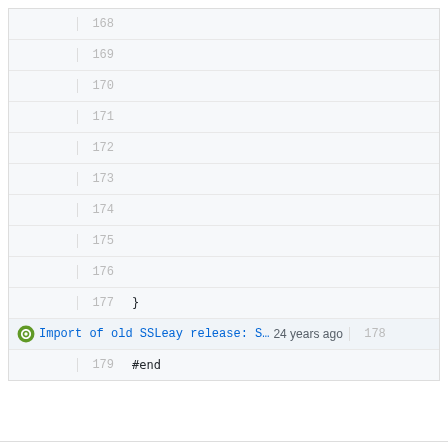[Figure (screenshot): Code viewer panel showing line numbers 168-179 with empty lines 168-177 except line 177 which shows '}', line 178 has a commit annotation showing 'Import of old SSLeay release: S... 24 years ago', and line 179 shows '#end']
Powered by Gitea Version: 1.13.7 Page: 481ms Template: 1ms
English | Licenses | API | Website | Go1.15.11